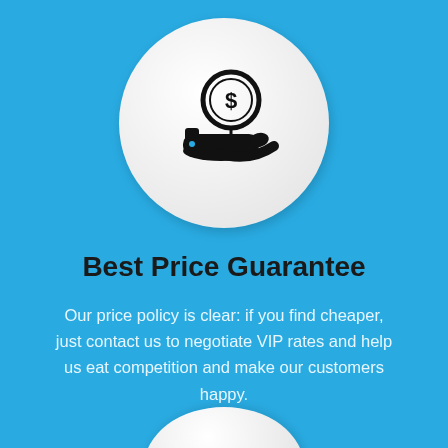[Figure (illustration): White circle with a hand holding a dollar coin icon (payment/price guarantee icon) on a blue background]
Best Price Guarantee
Our price policy is clear: if you find cheaper, just contact us to negotiate VIP rates and help us eat competition and make our customers happy.
[Figure (illustration): Partially visible white circle at the bottom of the page, similar to the top circle icon]